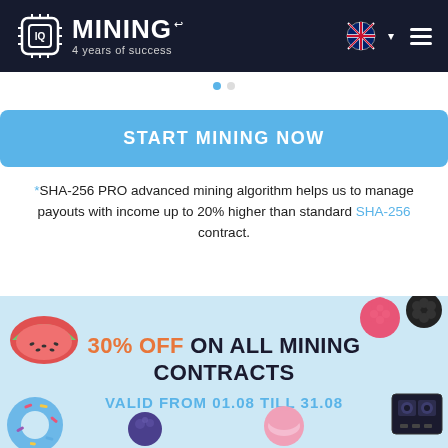IQ MINING — 4 years of success
[Figure (screenshot): Navigation dots indicator, partially visible]
[Figure (other): START MINING NOW blue button]
*SHA-256 PRO advanced mining algorithm helps us to manage payouts with income up to 20% higher than standard SHA-256 contract.
[Figure (infographic): Promotional banner: 30% OFF ON ALL MINING CONTRACTS, VALID FROM 01.08 TILL 31.08, with food/tech decorative items on light blue background]